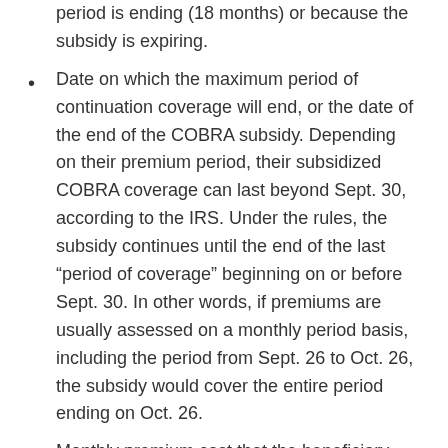period is ending (18 months) or because the subsidy is expiring.
Date on which the maximum period of continuation coverage will end, or the date of the end of the COBRA subsidy. Depending on their premium period, their subsidized COBRA coverage can last beyond Sept. 30, according to the IRS. Under the rules, the subsidy continues until the end of the last “period of coverage” beginning on or before Sept. 30. In other words, if premiums are usually assessed on a monthly period basis, including the period from Sept. 26 to Oct. 26, the subsidy would cover the entire period ending on Oct. 26.
Monthly premium cost that the beneficiary must pay to keep their continuation coverage going after the subsidy expires. It must also include